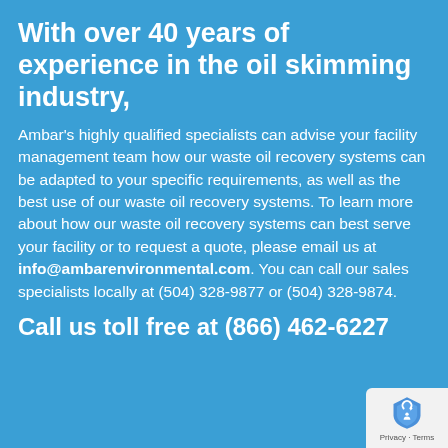With over 40 years of experience in the oil skimming industry,
Ambar's highly qualified specialists can advise your facility management team how our waste oil recovery systems can be adapted to your specific requirements, as well as the best use of our waste oil recovery systems. To learn more about how our waste oil recovery systems can best serve your facility or to request a quote, please email us at info@ambarenvironmental.com. You can call our sales specialists locally at (504) 328-9877 or (504) 328-9874.
Call us toll free at (866) 462-6227
[Figure (logo): Google reCAPTCHA badge with shield logo and Privacy/Terms text]